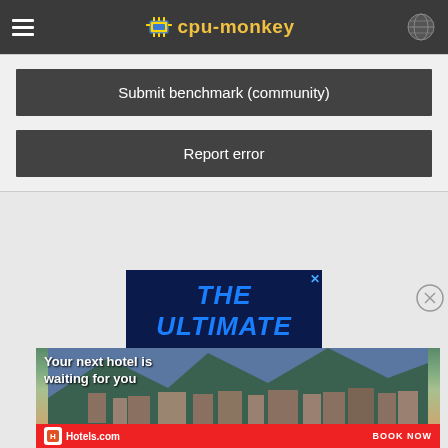cpu-monkey
Submit benchmark (community)
Report error
[Figure (screenshot): Advertisement banner: dark blue background with bold blue text 'THE ULTIMATE']
[Figure (screenshot): Hotels.com advertisement: red banner with text 'Your next hotel is waiting for you', photo of a hotel/resort with mountain backdrop, Hotels.com logo and 'BOOK NOW' button]